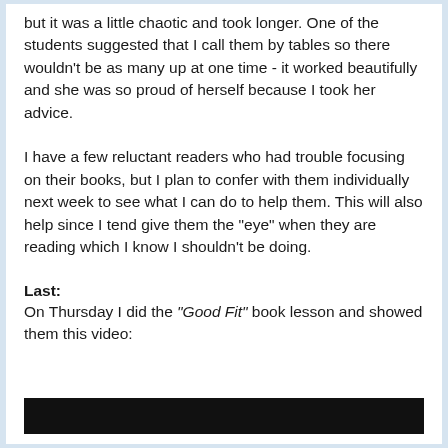but it was a little chaotic and took longer. One of the students suggested that I call them by tables so there wouldn't be as many up at one time - it worked beautifully and she was so proud of herself because I took her advice.
I have a few reluctant readers who had trouble focusing on their books, but I plan to confer with them individually next week to see what I can do to help them. This will also help since I tend give them the "eye" when they are reading which I know I shouldn't be doing.
Last:
On Thursday I did the "Good Fit" book lesson and showed them this video:
[Figure (screenshot): Black video bar at the bottom of the page]